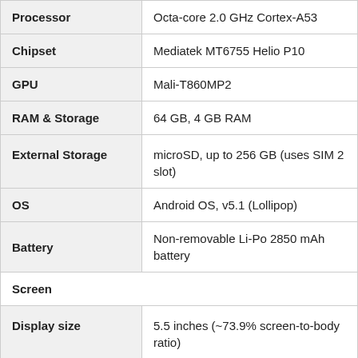| Attribute | Value |
| --- | --- |
| Processor | Octa-core 2.0 GHz Cortex-A53 |
| Chipset | Mediatek MT6755 Helio P10 |
| GPU | Mali-T860MP2 |
| RAM & Storage | 64 GB, 4 GB RAM |
| External Storage | microSD, up to 256 GB (uses SIM 2 slot) |
| OS | Android OS, v5.1 (Lollipop) |
| Battery | Non-removable Li-Po 2850 mAh battery |
| Screen |  |
| Display size | 5.5 inches (~73.9% screen-to-body ratio)
1080 x 1920 pixels (~401 ppi pixel density) |